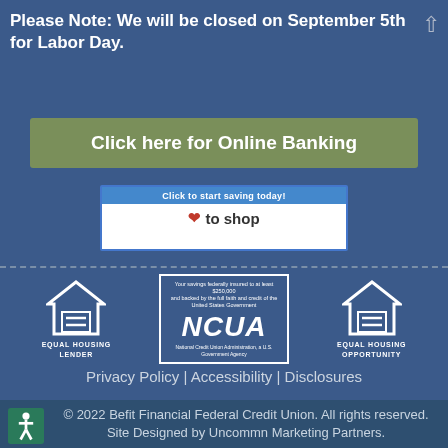Please Note: We will be closed on September 5th for Labor Day.
[Figure (illustration): Olive/green button with white bold text: Click here for Online Banking]
[Figure (illustration): Small banner: blue header 'Click to start saving today!' with heart icon and 'to shop' text below]
[Figure (logo): Equal Housing Lender logo (house with equals sign), NCUA logo (bordered box with NCUA in italic), Equal Housing Opportunity logo]
Privacy Policy | Accessibility | Disclosures
© 2022 Befit Financial Federal Credit Union. All rights reserved. Site Designed by Uncommn Marketing Partners.